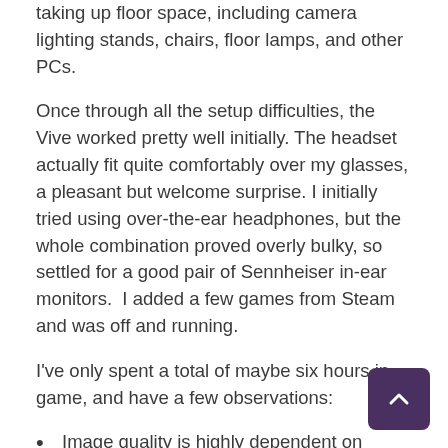taking up floor space, including camera lighting stands, chairs, floor lamps, and other PCs.
Once through all the setup difficulties, the Vive worked pretty well initially. The headset actually fit quite comfortably over my glasses, a pleasant but welcome surprise. I initially tried using over-the-ear headphones, but the whole combination proved overly bulky, so settled for a good pair of Sennheiser in-ear monitors.  I added a few games from Steam and was off and running.
I've only spent a total of maybe six hours in-game, and have a few observations:
Image quality is highly dependent on where your eyes are positioned. Minor slippage makes the whole scene look blurry. When in the sweet spot, though, VR through the Vive can be breathtaking.
Stability remains a concern. The main issue seems to be